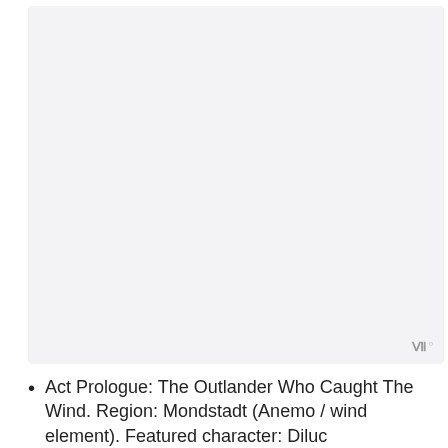[Figure (other): Large blank/placeholder image area with a watermark logo in the bottom-right corner reading 'WWW' with a superscript circle.]
Act Prologue: The Outlander Who Caught The Wind. Region: Mondstadt (Anemo / wind element). Featured character: Diluc
Act I: Farewell, Archaic Lord. Region: Liyue (Geo / earth element). Featured character: